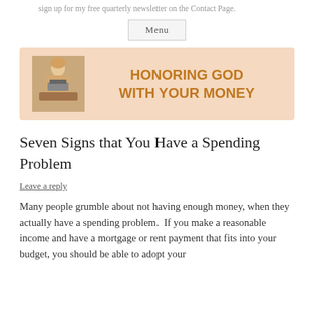sign up for my free quarterly newsletter on the Contact Page.
Menu
[Figure (illustration): Banner with peach/salmon background showing a woman at a typewriter on the left, and bold orange text reading HONORING GOD WITH YOUR MONEY on the right]
Seven Signs that You Have a Spending Problem
Leave a reply
Many people grumble about not having enough money, when they actually have a spending problem.  If you make a reasonable income and have a mortgage or rent payment that fits into your budget, you should be able to adopt your